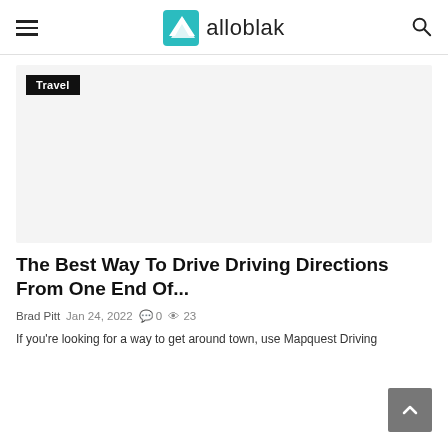alloblak
[Figure (other): Light gray placeholder image area for article thumbnail, with a 'Travel' badge in upper left]
The Best Way To Drive Driving Directions From One End Of...
Brad Pitt  Jan 24, 2022  0  23
If you're looking for a way to get around town, use Mapquest Driving